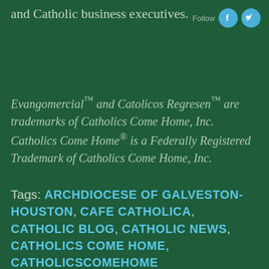and Catholic business executives.
Evangomercial™ and Catolicos Regresen™ are trademarks of Catholics Come Home, Inc. Catholics Come Home® is a Federally Registered Trademark of Catholics Come Home, Inc.
Tags: ARCHDIOCESE OF GALVESTON-HOUSTON, CAFE CATHOLICA, CATHOLIC BLOG, CATHOLIC NEWS, CATHOLICS COME HOME, CATHOLICSCOMEHO ME